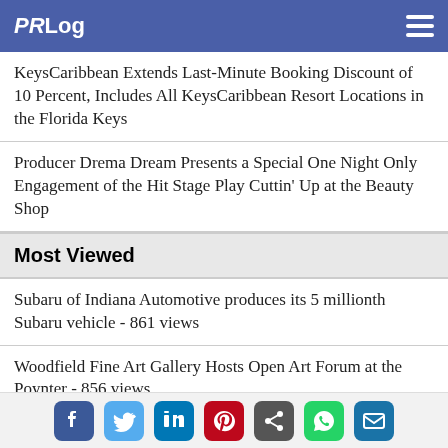PRLog
KeysCaribbean Extends Last-Minute Booking Discount of 10 Percent, Includes All KeysCaribbean Resort Locations in the Florida Keys
Producer Drema Dream Presents a Special One Night Only Engagement of the Hit Stage Play Cuttin' Up at the Beauty Shop
Most Viewed
Subaru of Indiana Automotive produces its 5 millionth Subaru vehicle - 861 views
Woodfield Fine Art Gallery Hosts Open Art Forum at the Poynter - 856 views
Modular Housing Moves Forward in Chicago with New Partnership Between SOW Modular and Vantem Global - 843 views
New Product Helps Plastic Surgery Patients Avoid...
Share bar: Facebook, Twitter, LinkedIn, Pinterest, Share, WhatsApp, Email